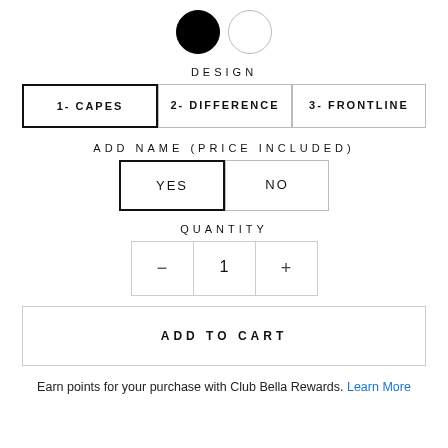[Figure (illustration): Two color swatches: a filled black circle and an empty white circle]
DESIGN
1- CAPES (selected), 2- DIFFERENCE, 3- FRONTLINE
ADD NAME (PRICE INCLUDED)
YES (selected), NO
QUANTITY
- 1 +
ADD TO CART
Earn points for your purchase with Club Bella Rewards. Learn More